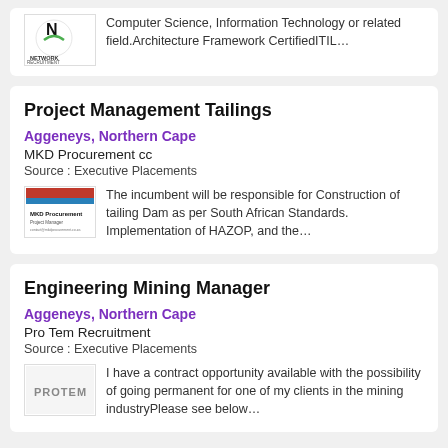[Figure (logo): Network Recruitment logo - circular N logo with green and black colors, text NETWORK RECRUITMENT below]
Computer Science, Information Technology or related field.Architecture Framework CertifiedITIL…
Project Management Tailings
Aggeneys, Northern Cape
MKD Procurement cc
Source : Executive Placements
[Figure (logo): MKD Procurement business card logo]
The incumbent will be responsible for Construction of tailing Dam as per South African Standards. Implementation of HAZOP, and the…
Engineering Mining Manager
Aggeneys, Northern Cape
Pro Tem Recruitment
Source : Executive Placements
[Figure (logo): Pro Tem Recruitment logo - PROTEM text logo]
I have a contract opportunity available with the possibility of going permanent for one of my clients in the mining industryPlease see below…